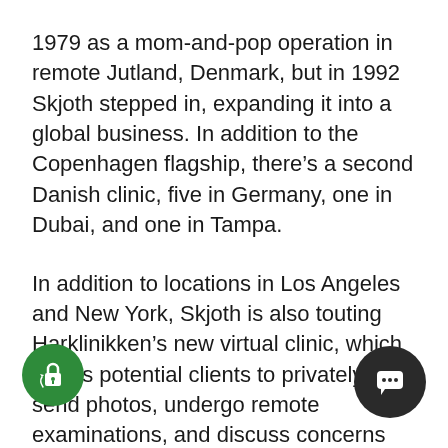1979 as a mom-and-pop operation in remote Jutland, Denmark, but in 1992 Skjoth stepped in, expanding it into a global business. In addition to the Copenhagen flagship, there's a second Danish clinic, five in Germany, one in Dubai, and one in Tampa.
In addition to locations in Los Angeles and New York, Skjoth is also touting Harklinikken’s new virtual clinic, which allows potential clients to privately send photos, undergo remote examinations, and discuss concerns before having customized Extract shipped to their homes. “The initial consult and the four-month follow-up happened via Skype,” says Cindi Yepes, a patient who had been previously diagnosed with hereditary alopecia. “I spent four years taking supplements, buying countless products, including Minoxidil, and have done god know many biopsies. Harklinikken has been worth e y.” Not surprisingly, further dietary changes, as as stress management, are also encouraged